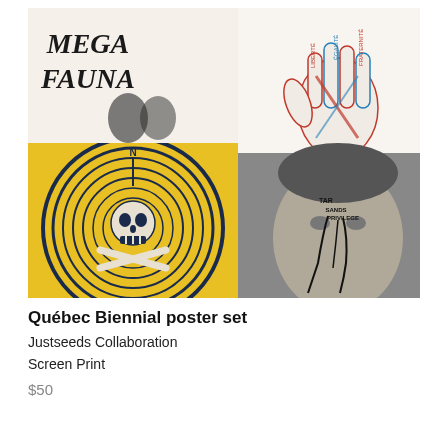[Figure (photo): A collage of screen print posters. Top left: black and white illustration reading 'MEGA FAUNA' with wrestling figures. Top right: a hand drawn in Union Jack pattern with text 'LIBERTÉ, ÉGALITÉ, FRATERNITÉ'. Bottom left: yellow background with skull and crossbones in a circular ring design with a compass/oil derrick. Bottom right: black and white photo of a man's face with cracked paint and text 'TAR SANDS PRIVILEGE' on his forehead and hand.]
Québec Biennial poster set
Justseeds Collaboration
Screen Print
$50